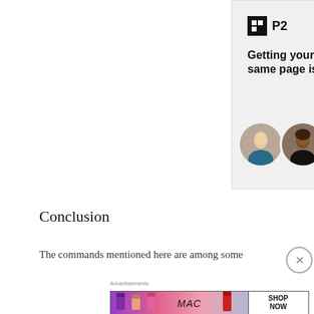[Figure (illustration): P2 app advertisement banner with logo, headline text 'Getting your team on the same page is easy. And free.', and three circular avatar photos plus a blue plus button circle.]
Conclusion
The commands mentioned here are among some
[Figure (illustration): MAC cosmetics advertisement banner showing lipstick tubes and MAC logo with 'SHOP NOW' button.]